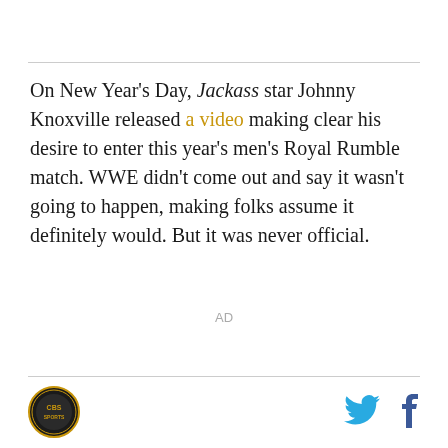On New Year's Day, Jackass star Johnny Knoxville released a video making clear his desire to enter this year's men's Royal Rumble match. WWE didn't come out and say it wasn't going to happen, making folks assume it definitely would. But it was never official.
AD
[Figure (logo): CBS Sports circular logo badge in gold and black]
[Figure (other): Twitter bird icon and Facebook f icon in cyan/blue]